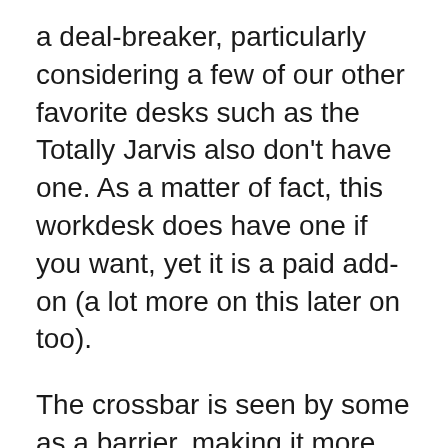a deal-breaker, particularly considering a few of our other favorite desks such as the Totally Jarvis also don't have one. As a matter of fact, this workdesk does have one if you want, yet it is a paid add-on (a lot more on this later on too).
The crossbar is seen by some as a barrier, making it more challenging to place your legs comfortably below the desk. Others, on the other hand, discover that they provide included security, frequently vital when workdesks are completely expanded.
We have not check out any issues of the stability of this desk, so we don't assume its something to truly be concerned about, although if you really desired a workdesk